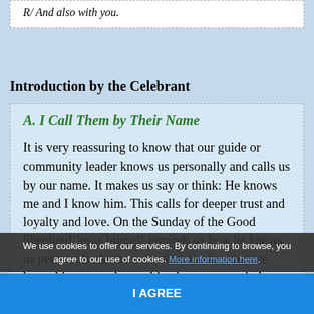R/ And also with you.
Introduction by the Celebrant
A. I Call Them by Their Name
It is very reassuring to know that our guide or community leader knows us personally and calls us by our name. It makes us say or think: He knows me and I know him. This calls for deeper trust and loyalty and love. On the Sunday of the Good Shepherd Jesus himself reminds us how he knows us personally. At the same time the fact that we know him too, at least a bit, changes our whole life. For knowing him, we know God. We experience presence in everyday life. Would that we pastors and shepherds could be close to their
We use cookies to offer our services. By continuing to browse, you agree to our use of cookies. More information here.
I AGREE